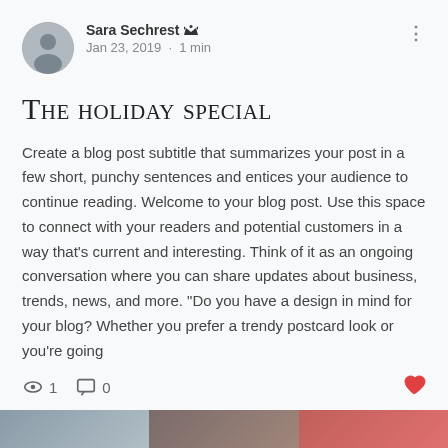Sara Sechrest 👑  Jan 23, 2019 · 1 min
The holiday special
Create a blog post subtitle that summarizes your post in a few short, punchy sentences and entices your audience to continue reading. Welcome to your blog post. Use this space to connect with your readers and potential customers in a way that's current and interesting. Think of it as an ongoing conversation where you can share updates about business, trends, news, and more. "Do you have a design in mind for your blog? Whether you prefer a trendy postcard look or you're going
[Figure (infographic): View count icon showing 1, comment icon showing 0, and heart/like icon on the right]